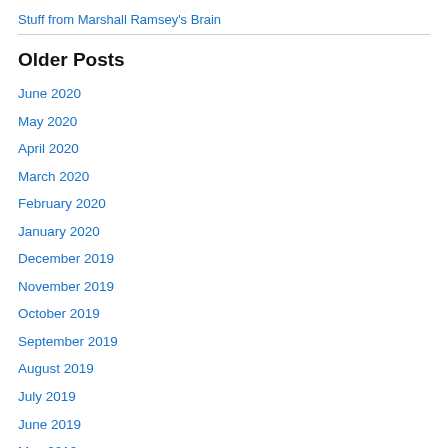Stuff from Marshall Ramsey's Brain
Older Posts
June 2020
May 2020
April 2020
March 2020
February 2020
January 2020
December 2019
November 2019
October 2019
September 2019
August 2019
July 2019
June 2019
May 2019
April 2019